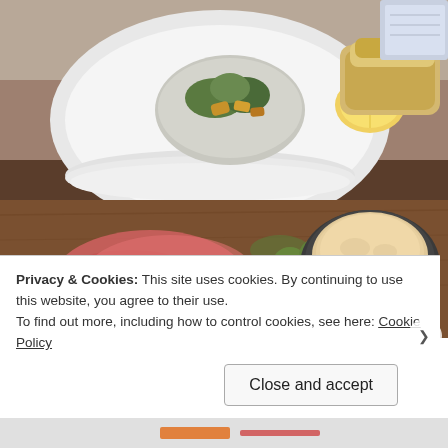[Figure (photo): A food spread on a wooden board: charcuterie/cured meats, green olives, hummus in a black bowl, bread, lemon wedge, and a small bowl with salad, with a lit candle on the left side. Plates and food visible in the background.]
Privacy & Cookies: This site uses cookies. By continuing to use this website, you agree to their use.
To find out more, including how to control cookies, see here: Cookie Policy
Close and accept